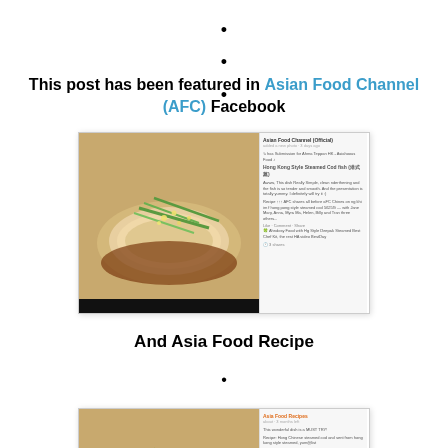•
•
•
This post has been featured in Asian Food Channel (AFC) Facebook
[Figure (screenshot): Screenshot of Asian Food Channel (Official) Facebook post featuring Hong Kong Style Steamed Cod fish, with a photo of the dish on the left and the Facebook post text on the right.]
And Asia Food Recipe
•
•
•
[Figure (screenshot): Screenshot of Asia Food Recipes Facebook post featuring Hong Kong Style Steamed Cod fish, with a photo of the dish on the left and the Facebook post text on the right.]